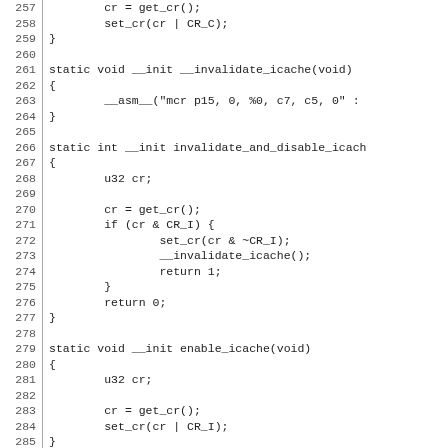Code listing lines 257-286, C source code for cache management functions including __invalidate_icache, invalidate_and_disable_icache, and enable_icache.